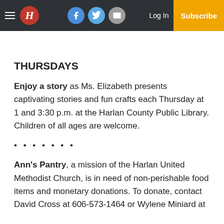H | Log In | Subscribe (Facebook, Twitter, Email icons)
THURSDAYS
Enjoy a story as Ms. Elizabeth presents captivating stories and fun crafts each Thursday at 1 and 3:30 p.m. at the Harlan County Public Library. Children of all ages are welcome.
• • • • • • •
Ann's Pantry, a mission of the Harlan United Methodist Church, is in need of non-perishable food items and monetary donations. To donate, contact David Cross at 606-573-1464 or Wylene Miniard at